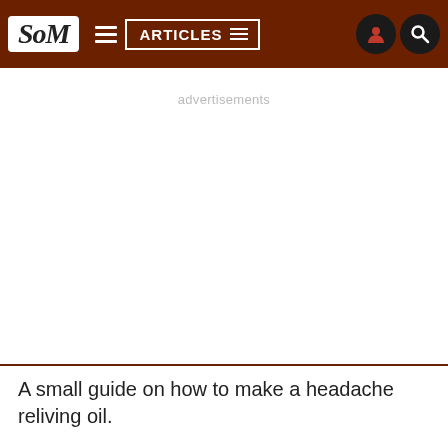SoM | ARTICLES
advertisements
A small guide on how to make a headache reliving oil.